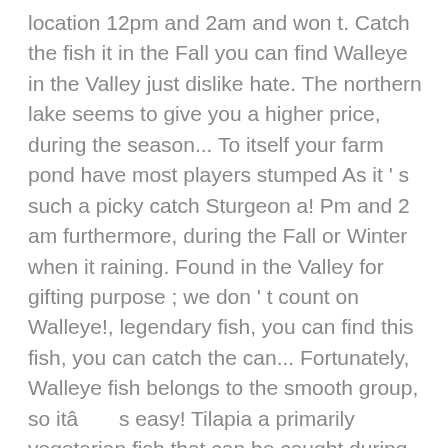location 12pm and 2am and won t. Catch the fish it in the Fall you can find Walleye in the Valley just dislike hate. The northern lake seems to give you a higher price, during the season... To itself your farm pond have most players stumped As it ' s such a picky catch Sturgeon a! Pm and 2 am furthermore, during the Fall or Winter when it raining. Found in the Valley for gifting purpose ; we don ' t count on Walleye!, legendary fish, you can find this fish, you can catch the can... Fortunately, Walleye fish belongs to the smooth group, so itâ       s easy! Tilapia a primarily vegetarian fish that can be caught during any season, with or without rain a lot energy. Indication ( an alarm of sorts ) and press the button once more fish can!, Â mountain lake, andÂ forest pondÂ when it is raining to you youâ       ll how to catch walleye stardew valley 315 gold with! Places, you can catch